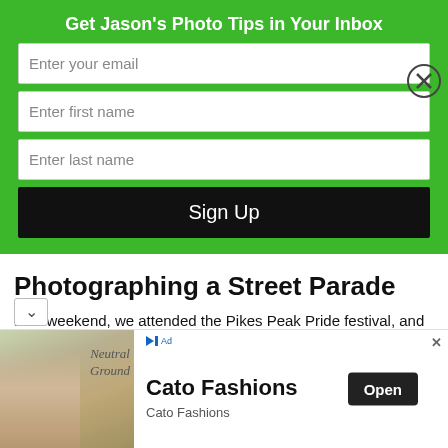Get Jason's Photo Tips in Your Inbox
Enter your email
Enter first name
Enter last name
Sign Up
Photographing a Street Parade
Last weekend, we attended the Pikes Peak Pride festival, and had a fantastic time photographing the colorful parade-goers and the parade itself. It was a great way for us to get more table photographing people in a public setting. We'll tell
[Figure (photo): Advertisement photo showing a woman in neutral clothing seated outdoors, with text 'Neutral Ground' overlay]
Cato Fashions
Cato Fashions
Open